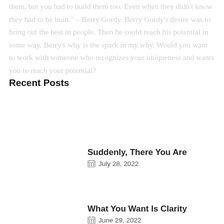them, but you had to build them too. Even when they didn't know they had to be built." – Berry Gordy. Berry Gordy's desire was to bring out the best in people. Then he could reach his potential in some way. Berry's why is the spark in my why. Would you want to work with someone who recognizes your uniqueness and wants you to reach your potential?
Recent Posts
Suddenly, There You Are — July 28, 2022
What You Want Is Clarity — June 29, 2022
CONTINUE READING...
Understanding a Difference of Opinion — June 3, 2022
Do You Acknowledge Your “Enough”? — May 1, 2022